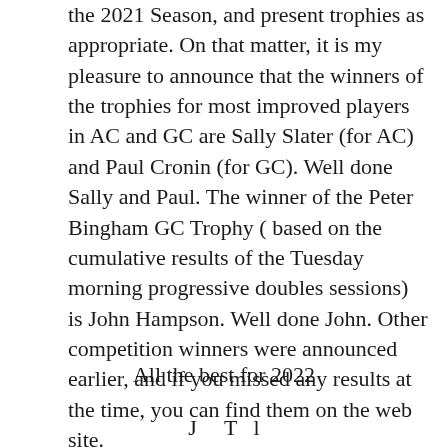the 2021 Season, and present trophies as appropriate.  On that matter, it is my pleasure to announce that the winners of the trophies for most improved players in AC and GC are Sally Slater (for AC) and Paul Cronin (for GC).  Well done Sally and Paul.  The winner of the Peter Bingham GC Trophy ( based on the cumulative results of the Tuesday morning progressive doubles sessions) is John Hampson.  Well done John. Other competition winners were announced earlier, and if you missed any results at the time, you can find them on the web site.
All the best for 2022
J     T    l